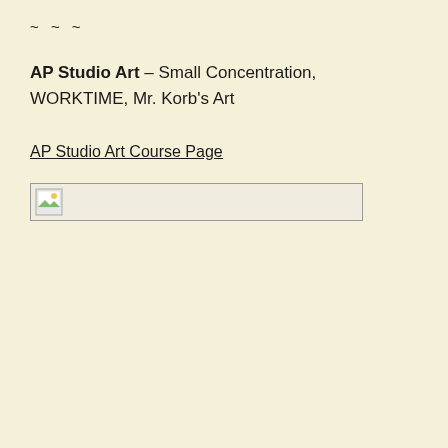~ ~ ~
AP Studio Art – Small Concentration, WORKTIME, Mr. Korb's Art
AP Studio Art Course Page
[Figure (other): Broken image placeholder with small landscape icon]